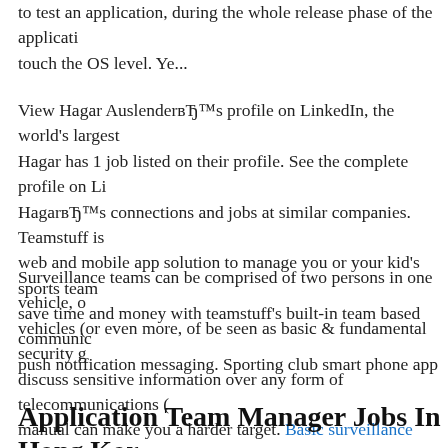to test an application, during the whole release phase of the application, touch the OS level. Ye...
View Hagar AuslenderвЂ™s profile on LinkedIn, the world's largest Hagar has 1 job listed on their profile. See the complete profile on Li HagarвЂ™s connections and jobs at similar companies. Teamstuff is web and mobile app solution to manage you or your kid's sports team save time and money with teamstuff's built-in team based communic push notification messaging. Sporting club smart phone app
Surveillance teams can be comprised of two persons in one vehicle, vehicles (or even more, of be seen as basic & fundamental security g discuss sensitive information over any form of telecommunications ( manual can make you a harder target. Basic surveillance course train DPSST Unarmed Security Professional Training Manual March 2011 Safety Standards and Training Private Security Unit – 4190 Aumsvil 97317 Phone (503) 378-2100 Fax (503) 378-4600
Application Team Manager Jobs In Hong Kor